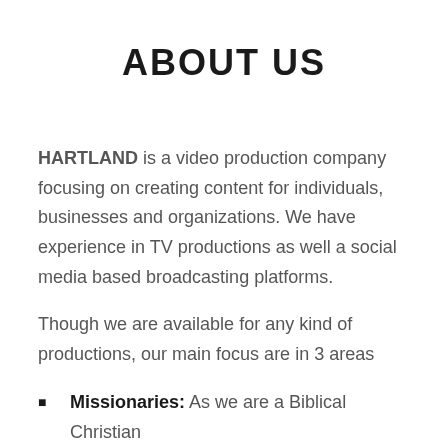ABOUT US
HARTLAND is a video production company focusing on creating content for individuals, businesses and organizations. We have experience in TV productions as well a social media based broadcasting platforms.
Though we are available for any kind of productions, our main focus are in 3 areas
Missionaries: As we are a Biblical Christian